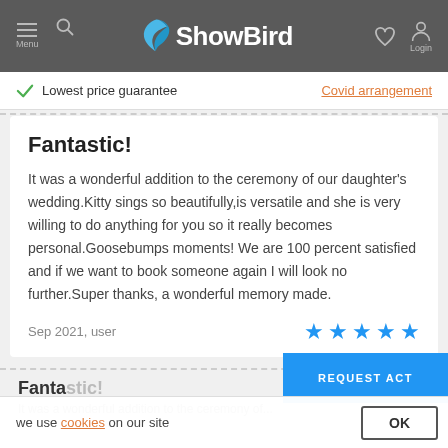ShowBird — Menu, Search, Login
Lowest price guarantee   Covid arrangement
Fantastic!
It was a wonderful addition to the ceremony of our daughter's wedding.Kitty sings so beautifully,is versatile and she is very willing to do anything for you so it really becomes personal.Goosebumps moments! We are 100 percent satisfied and if we want to book someone again I will look no further.Super thanks, a wonderful memory made.
Sep 2021, user
Fanta
we use cookies on our site